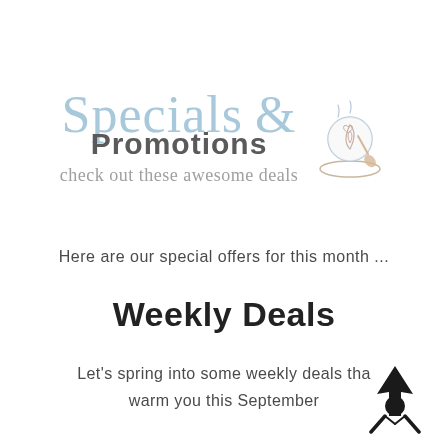[Figure (logo): Specials & Promotions logo with script text in light blue, bold dark grey 'Promotions', subtitle 'check out these awesome deals' in cursive, and a coffee cup illustration]
Here are our special offers for this month ...
Weekly Deals
Let's spring into some weekly deals that warm you this September
[Figure (logo): Small black rocket/arrow icon in bottom right corner]